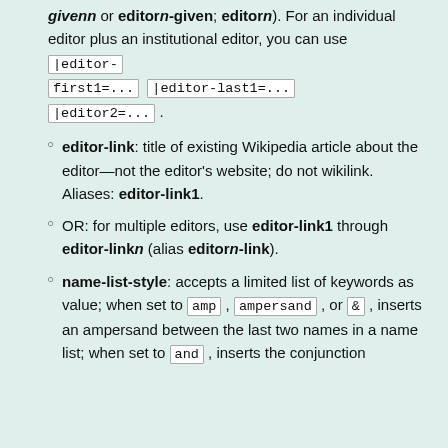givenn or editorn-given; editorn). For an individual editor plus an institutional editor, you can use |editor-first1=... |editor-last1=... |editor2=... .
editor-link: title of existing Wikipedia article about the editor—not the editor's website; do not wikilink. Aliases: editor-link1.
OR: for multiple editors, use editor-link1 through editor-linkn (alias editorn-link).
name-list-style: accepts a limited list of keywords as value; when set to amp, ampersand, or &, inserts an ampersand between the last two names in a name list; when set to and, inserts the conjunction